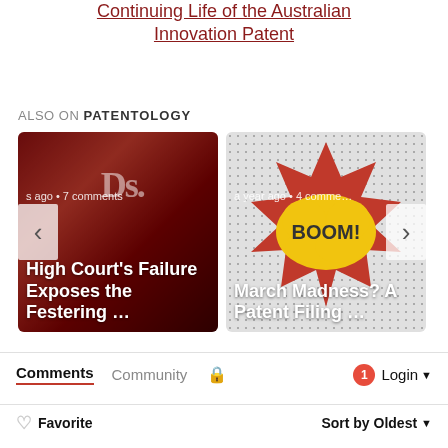Continuing Life of the Australian Innovation Patent
ALSO ON PATENTOLOGY
[Figure (photo): Card showing a dark red rusted texture with white bold text 'D's' partially visible, overlaid with article title 'High Court's Failure Exposes the Festering ...' and metadata 's ago • 7 comments']
[Figure (photo): Card showing a halftone dot pattern background with a comic-book style 'BOOM!' explosion graphic, overlaid with article title 'March Madness? A Patent Filing ...' and metadata 'a year ago • 4 comments']
Comments  Community  🔒  1  Login
♡ Favorite    Sort by Oldest